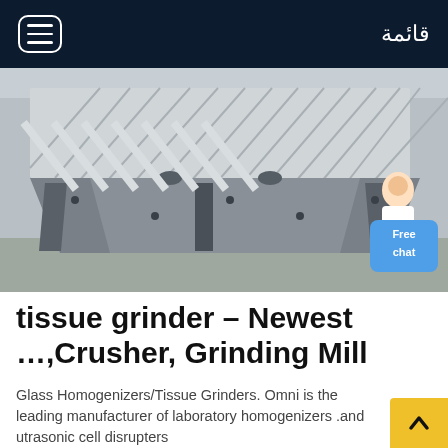قائمة
[Figure (photo): Industrial grinding/crushing machine with metal ridged panels and structural steel frames, photographed outdoors]
tissue grinder – Newest …,Crusher, Grinding Mill
Glass Homogenizers/Tissue Grinders. Omni is the leading manufacturer of laboratory homogenizers .and utrasonic cell disrupters